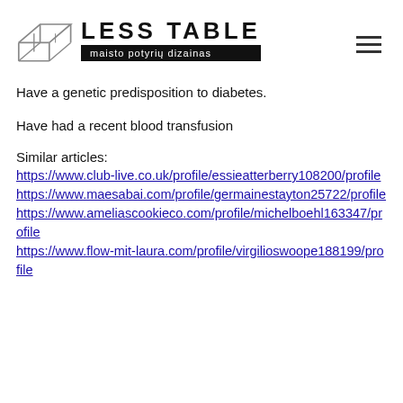[Figure (logo): Less Table brand logo with a table wireframe illustration and text 'LESS TABLE' with tagline 'maisto potyrių dizainas' on black background, plus a hamburger menu icon]
Have a genetic predisposition to diabetes.
Have had a recent blood transfusion
Similar articles:
https://www.club-live.co.uk/profile/essieatterberry108200/profile https://www.maesabai.com/profile/germainestayton25722/profile https://www.ameliascookieco.com/profile/michelboehl163347/profile https://www.flow-mit-laura.com/profile/virgilioswoope188199/profile